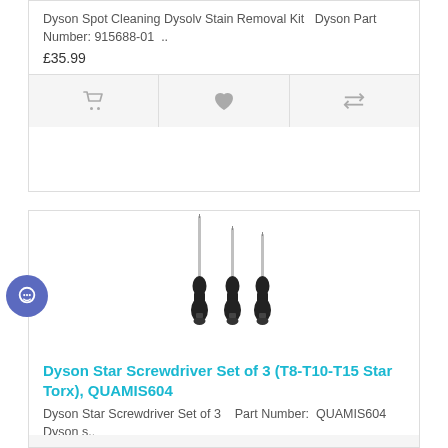Dyson Spot Cleaning Dysolv Stain Removal Kit  Dyson Part Number: 915688-01  ..
£35.99
[Figure (photo): Three Dyson star screwdrivers with black handles (T8, T10, T15 Torx), standing upright showing slim metal shafts]
Dyson Star Screwdriver Set of 3 (T8-T10-T15 Star Torx), QUAMIS604
Dyson Star Screwdriver Set of 3   Part Number:  QUAMIS604  Dyson s..
£14.99